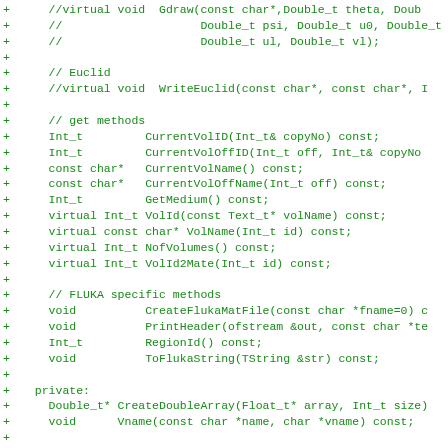[Figure (other): C++ code diff showing class method declarations with green plus signs indicating additions, including virtual methods, get methods, FLUKA specific methods, and private members for TFlukaMCGeometry class]